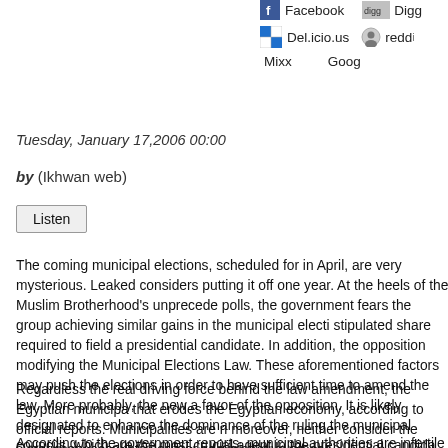Facebook  Digg  Del.icio.us  reddit  Mixx  Google
Tuesday, January 17,2006 00:00
by (Ikhwan web)
Listen
The coming municipal elections, scheduled for in April, are very mysterious. Leaked considers putting it off one year. At the heels of the Muslim Brotherhood's unprecede polls, the government fears the group achieving similar gains in the municipal electi stipulated share required to field a presidential candidate. In addition, the opposition modifying the Municipal Elections Law. These aforementioned factors may push the elections in order to have sufficient time to amend the law. More probably, the new a favor of the opposition. It is likely designated to enhance the dominance of the ruling the municipal councils, which are the most crucial agent in the presidential candida
Regardless the real driving force behind the law amendment, the Egyptian municipa that erodes the Egyptian economy, according to official reports. Municipalities are ri moreover, neither consider the supervisory accounts nor fear administrative prosec
According to the government reports, municipal authorities are infertile and unable t